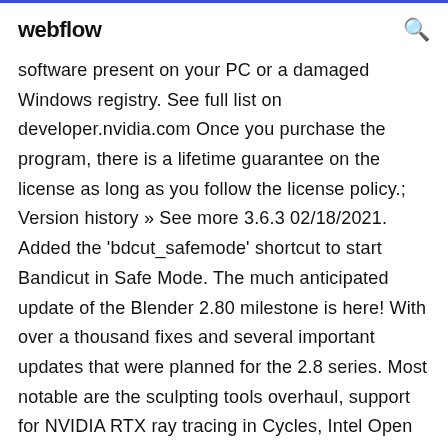webflow
software present on your PC or a damaged Windows registry. See full list on developer.nvidia.com Once you purchase the program, there is a lifetime guarantee on the license as long as you follow the license policy.; Version history » See more 3.6.3 02/18/2021. Added the 'bdcut_safemode' shortcut to start Bandicut in Safe Mode. The much anticipated update of the Blender 2.80 milestone is here! With over a thousand fixes and several important updates that were planned for the 2.8 series. Most notable are the sculpting tools overhaul, support for NVIDIA RTX ray tracing in Cycles, Intel Open Image denoising, a better outliner, a new file browser and much more.